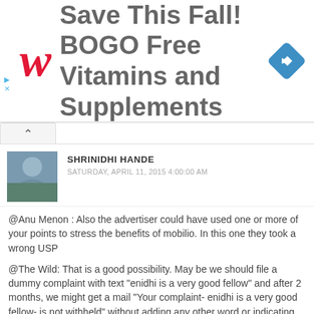[Figure (infographic): Walgreens advertisement banner: Save This Fall! BOGO Free Vitamins and Supplements, with Walgreens cursive W logo and navigation diamond icon]
SHRINIDHI HANDE
SATURDAY, APRIL 11, 2015 4:00:00 AM
@Anu Menon : Also the advertiser could have used one or more of your points to stress the benefits of mobilio. In this one they took a wrong USP
@The Wild: That is a good possibility. May be we should file a dummy complaint with text "enidhi is a very good fellow" and after 2 months, we might get a mail "Your complaint- enidhi is a very good fellow- is not withheld" without adding any other word or indicating that complaint is not making any sense.
@Senthil Kumar: Thanks for the comment. Not a single extra word is added, only my own text returned to me with statement it is not upheld... I will ask them to forward Honda's response to me and see what happens